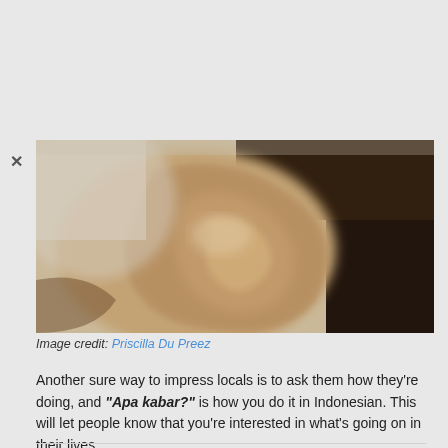[Figure (photo): Close-up blurred photo of a human ear in sepia/warm tones]
Image credit: Priscilla Du Preez
Another sure way to impress locals is to ask them how they're doing, and “Apa kabar?” is how you do it in Indonesian. This will let people know that you're interested in what's going on in their lives.